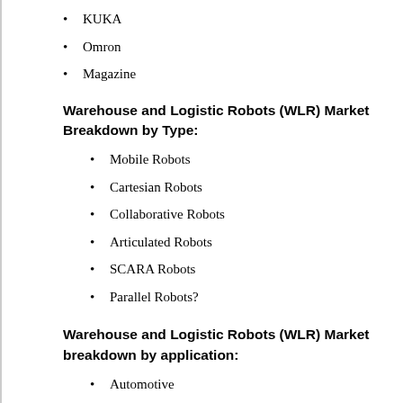KUKA
Omron
Magazine
Warehouse and Logistic Robots (WLR) Market Breakdown by Type:
Mobile Robots
Cartesian Robots
Collaborative Robots
Articulated Robots
SCARA Robots
Parallel Robots?
Warehouse and Logistic Robots (WLR) Market breakdown by application:
Automotive
Food & Beverages